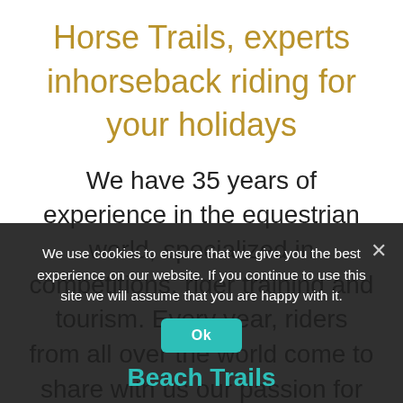Horse Trails, experts inhorseback riding for your holidays
We have 35 years of experience in the equestrian world, specialized in competitions, rider training and tourism. Every year, riders from all over the world come to share with us our passion for horses, nature.
We use cookies to ensure that we give you the best experience on our website. If you continue to use this site we will assume that you are happy with it.
Ok
Beach Trails